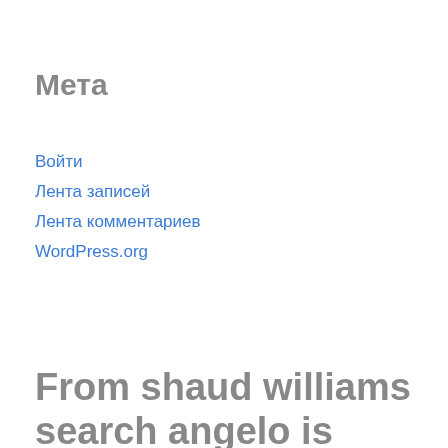Мета
Войти
Лента записей
Лента комментариев
WordPress.org
From shaud williams search angelo is players power